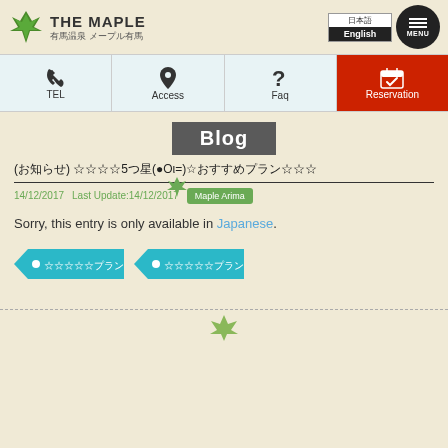[Figure (logo): The Maple hotel logo with green maple leaf icon and text 'THE MAPLE / 有馬温泉 メープル有馬']
[Figure (screenshot): Navigation bar with TEL, Access, Faq icons and red Reservation button]
Blog
(お知らせ) ☆☆☆☆5つ星(●Оι=)☆おすすめプラン☆☆☆
14/12/2017 Last Update:14/12/2017 Maple Arima
Sorry, this entry is only available in Japanese.
● ☆☆☆☆☆プラン☆
● ☆☆☆☆☆プラン☆